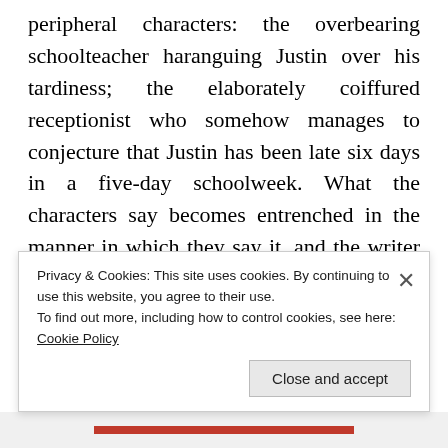peripheral characters: the overbearing schoolteacher haranguing Justin over his tardiness; the elaborately coiffured receptionist who somehow manages to conjecture that Justin has been late six days in a five-day schoolweek. What the characters say becomes entrenched in the manner in which they say it, and the writer is good at fuelling the exchanges of direct speech with just enough spatial context to sell us the scene convincingly, while steering away from an expository paint-by-numbers approach. Witness, for instance, Pedro's gentle admonition towards his less fiscally
Privacy & Cookies: This site uses cookies. By continuing to use this website, you agree to their use. To find out more, including how to control cookies, see here: Cookie Policy
Close and accept